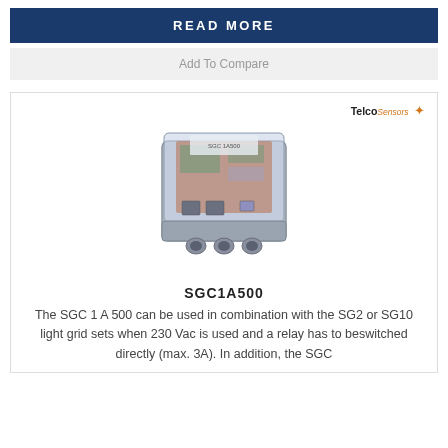READ MORE
Add To Compare
[Figure (photo): Photo of SGC 1A 500 product — a grey plastic enclosure with transparent lid showing circuit board inside, with three cable glands on the bottom. Telco Sensors logo in top right.]
SGC1A500
The SGC 1 A 500 can be used in combination with the SG2 or SG10 light grid sets when 230 Vac is used and a relay has to beswitched directly (max. 3A). In addition, the SGC